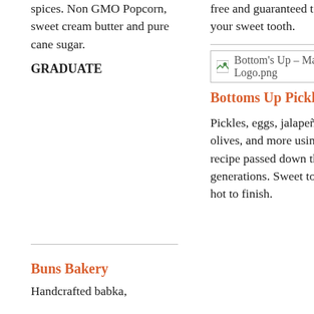spices. Non GMO Popcorn, sweet cream butter and pure cane sugar.
GRADUATE
free and guaranteed to satisfy your sweet tooth.
[Figure (logo): Bottom's Up – Main Logo.png image placeholder]
Bottoms Up Pickling
Pickles, eggs, jalapeños, olives, and more using a recipe passed down through generations. Sweet to start, hot to finish.
Buns Bakery
Handcrafted babka,